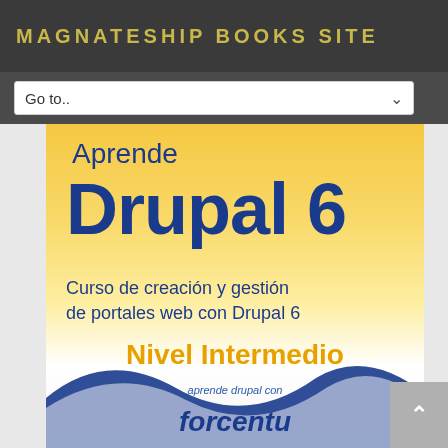MAGNATESHIP BOOKS SITE
Go to..
[Figure (screenshot): Book cover for 'Aprende Drupal 6 - Curso de creación y gestión de portales web con Drupal 6, Nivel Intermedio' by forcentu. Yellow-to-white gradient background with blue wave decoration. Published on Magnateship Books Site.]